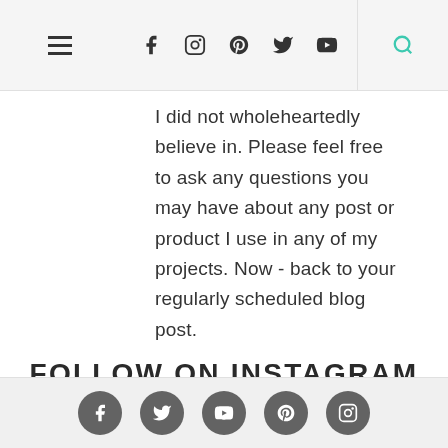Navigation bar with hamburger menu, social icons (Facebook, Instagram, Pinterest, Twitter, YouTube), and search icon
I did not wholeheartedly believe in. Please feel free to ask any questions you may have about any post or product I use in any of my projects. Now - back to your regularly scheduled blog post.
FOLLOW ON INSTAGRAM
Footer with social media icons: Facebook, Twitter, YouTube, Pinterest, Instagram